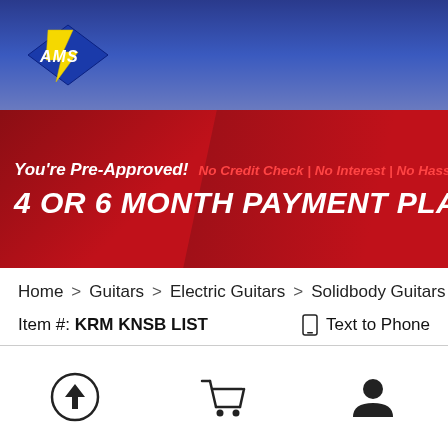[Figure (logo): AMS music store logo - yellow and blue diagonal lightning bolt design with 'AMS' text]
[Figure (infographic): Promotional banner: 'You're Pre-Approved! No Credit Check | No Interest | No Hassle' and '4 OR 6 MONTH PAYMENT PLANS' on red background]
Home > Guitars > Electric Guitars > Solidbody Guitars
Item #: KRM KNSB LIST   Text to Phone
[Figure (infographic): Bottom navigation bar with three icons: upload/back-to-top arrow in circle, shopping cart, and user profile icon]